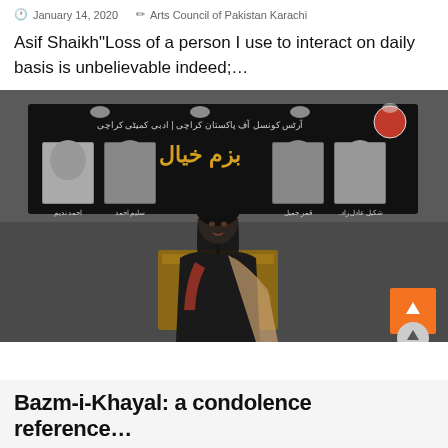January 14, 2020   Arts Council of Pakistan Karachi
Asif Shaikh"Loss of a person I use to interact on daily basis is unbelievable indeed;…
[Figure (photo): A woman in black attire speaking at a podium with a microphone, in front of a dark banner with Urdu text and four portrait photographs displayed, at Arts Council of Pakistan Karachi event.]
Bazm-i-Khayal: a condolence reference…